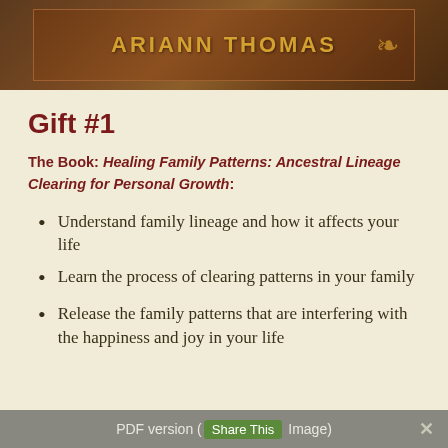[Figure (illustration): Book cover banner showing author name 'ARIANN THOMAS' in gold letters on a dark brown ornate background with decorative golden scrollwork]
Gift #1
The Book: Healing Family Patterns: Ancestral Lineage Clearing for Personal Growth:
Understand family lineage and how it affects your life
Learn the process of clearing patterns in your family
Release the family patterns that are interfering with the happiness and joy in your life
PDF version (Share This Image)  ✕